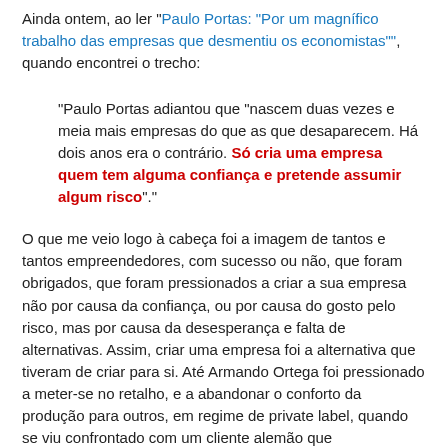Ainda ontem, ao ler "Paulo Portas: "Por um magnífico trabalho das empresas que desmentiu os economistas"", quando encontrei o trecho:
"Paulo Portas adiantou que "nascem duas vezes e meia mais empresas do que as que desaparecem. Há dois anos era o contrário. Só cria uma empresa quem tem alguma confiança e pretende assumir algum risco"."
O que me veio logo à cabeça foi a imagem de tantos e tantos empreendedores, com sucesso ou não, que foram obrigados, que foram pressionados a criar a sua empresa não por causa da confiança, ou por causa do gosto pelo risco, mas por causa da desesperança e falta de alternativas. Assim, criar uma empresa foi a alternativa que tiveram de criar para si. Até Armando Ortega foi pressionado a meter-se no retalho, e a abandonar o conforto da produção para outros, em regime de private label, quando se viu confrontado com um cliente alemão que honestamente, antes de recolher a mercadoria que tinha mandado fazer, revelou que tinha ficado sem dinheiro e não lhe poderia pagar como combinado.